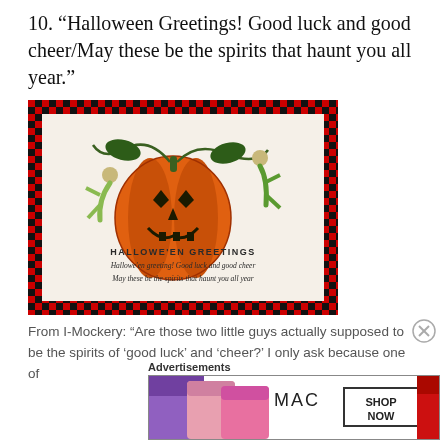10. “Halloween Greetings! Good luck and good cheer/May these be the spirits that haunt you all year.”
[Figure (illustration): Vintage Halloween postcard showing a large jack-o-lantern pumpkin with vine tendrils, two small elf/sprite figures climbing the vines, and text reading 'HALLOWE'EN GREETINGS / Hallowe'en greeting! Good luck and good cheer / May these be the spirits that haunt you all year'. The card has a red and black checkered border.]
From I-Mockery: “Are those two little guys actually supposed to be the spirits of ‘good luck’ and ‘cheer?’ I only ask because one of
Advertisements
[Figure (photo): MAC cosmetics advertisement showing colorful lipsticks (purple, pink, red) with MAC logo and 'SHOP NOW' button]